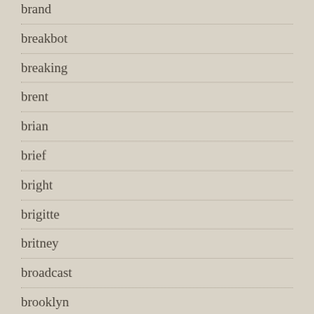brand
breakbot
breaking
brent
brian
brief
bright
brigitte
britney
broadcast
brooklyn
brother
bruce
brute
bttf
buckethead